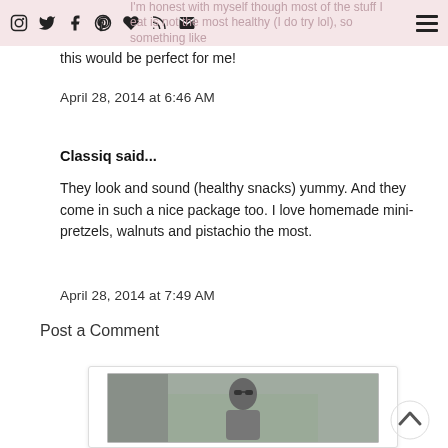Instagram Twitter Facebook Pinterest Bloglovin RSS Email [navigation icons]
I'm honest with myself though most of the stuff I eat is not the most healthy (I do try lol), so something like this would be perfect for me!
April 28, 2014 at 6:46 AM
Classiq said...
They look and sound (healthy snacks) yummy. And they come in such a nice package too. I love homemade mini-pretzels, walnuts and pistachio the most.
April 28, 2014 at 7:49 AM
Post a Comment
[Figure (photo): A person wearing sunglasses outdoors, partial photo shown in a card/frame at the bottom of the page.]